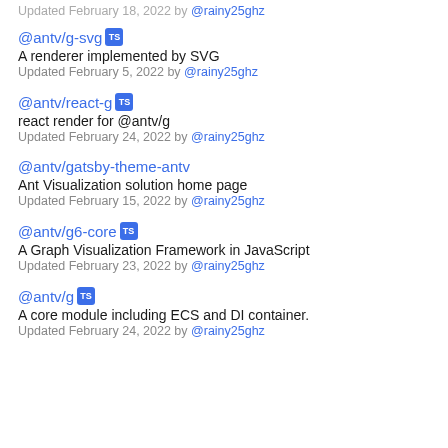Updated February 18, 2022 by @rainy25ghz
@antv/g-svg [TS] A renderer implemented by SVG Updated February 5, 2022 by @rainy25ghz
@antv/react-g [TS] react render for @antv/g Updated February 24, 2022 by @rainy25ghz
@antv/gatsby-theme-antv Ant Visualization solution home page Updated February 15, 2022 by @rainy25ghz
@antv/g6-core [TS] A Graph Visualization Framework in JavaScript Updated February 23, 2022 by @rainy25ghz
@antv/g [TS] A core module including ECS and DI container. Updated February 24, 2022 by @rainy25ghz